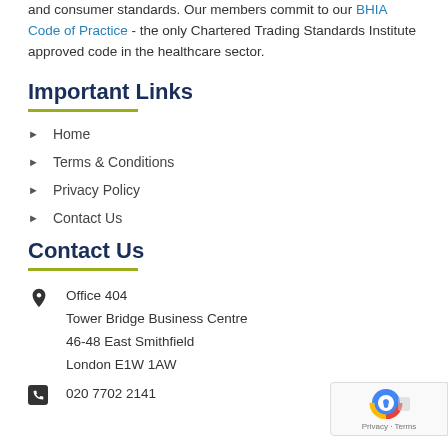and consumer standards. Our members commit to our BHIA Code of Practice - the only Chartered Trading Standards Institute approved code in the healthcare sector.
Important Links
Home
Terms & Conditions
Privacy Policy
Contact Us
Contact Us
Office 404
Tower Bridge Business Centre
46-48 East Smithfield
London E1W 1AW
020 7702 2141